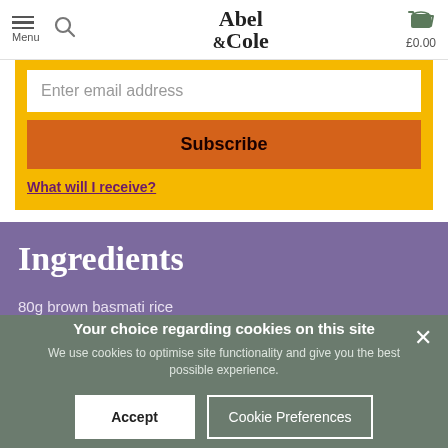Menu | Abel & Cole | £0.00
Enter email address
Subscribe
What will I receive?
Ingredients
80g brown basmati rice
Your choice regarding cookies on this site
We use cookies to optimise site functionality and give you the best possible experience.
Accept
Cookie Preferences